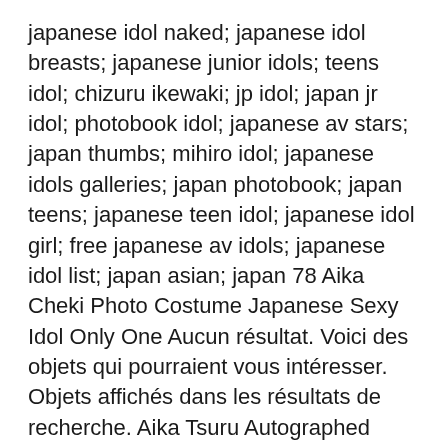japanese idol naked; japanese idol breasts; japanese junior idols; teens idol; chizuru ikewaki; jp idol; japan jr idol; photobook idol; japanese av stars; japan thumbs; mihiro idol; japanese idols galleries; japan photobook; japan teens; japanese teen idol; japanese idol girl; free japanese av idols; japanese idol list; japan asian; japan 78 Aika Cheki Photo Costume Japanese Sexy Idol Only One Aucun résultat. Voici des objets qui pourraient vous intéresser. Objets affichés dans les résultats de recherche. Aika Tsuru Autographed Photo Cheki signed Japanese Idol sexy RARE